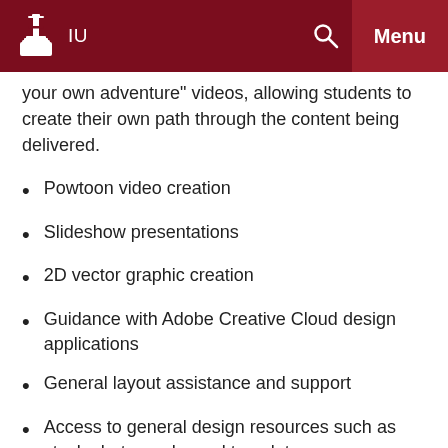IU | Menu
your own adventure  videos, allowing students to create their own path through the content being delivered.
Powtoon video creation
Slideshow presentations
2D vector graphic creation
Guidance with Adobe Creative Cloud design applications
General layout assistance and support
Access to general design resources such as stock photography and templates
For other information regarding additional uses of video